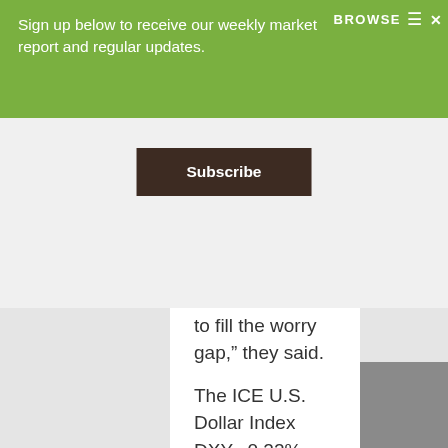Sign up below to receive our weekly market report and regular updates.
Subscribe
to fill the worry gap,” they said.
The ICE U.S. Dollar Index DXY, -0.22% pulled back again on Thursday, slipping 0.5% to 96.537. The gauge is on track to finish the last trading week of the year down 0.4%, according to FactSet.
The euro EURUSD, +0.2187% and traditional havens like the Japanese yen USDJPY, -0.51% and